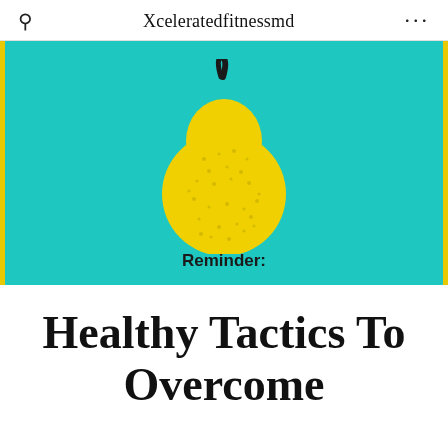Xceleratedfitnessmd
[Figure (illustration): A yellow textured pear with a black stem on a teal/cyan background, with bold text 'Reminder:' at the bottom of the image.]
Healthy Tactics To Overcome